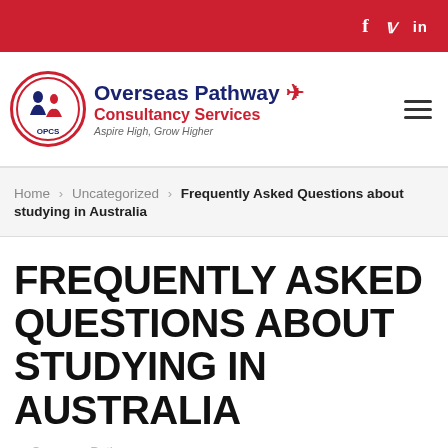f  t  in
[Figure (logo): Overseas Pathway Consultancy Services logo with OPCS circular emblem and airplane icon. Tagline: Aspire High, Grow Higher]
Home > Uncategorized > Frequently Asked Questions about studying in Australia
FREQUENTLY ASKED QUESTIONS ABOUT STUDYING IN AUSTRALIA
Overseas Pathway